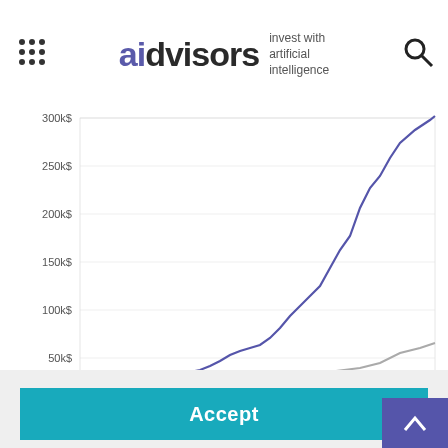aidvisors — invest with artificial intelligence
[Figure (line-chart): Line chart showing investment growth over time up to 300k$, with a dark blue line (Genesis Risk Management) rising steeply and a grey line (benchmark) rising more gradually. Y-axis: 0$, 50k$, 100k$, 150k$, 200k$, 250k$, 300k$.]
Genesis Risk Management
Investment Strategy Facts
Underlying Asset Facts
| Target Audience | Risk-Averse Long-Term Investors |
| --- | --- |
| Asset | Walmart Inc. |
| --- | --- |
We use cookies to optimize our website and our service.  Cookie Policy - Privacy Statement
Accept